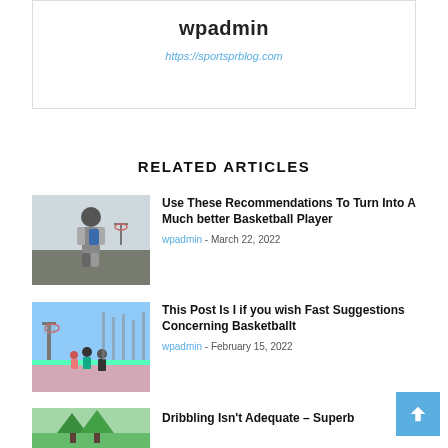wpadmin
https://sportsprblog.com
RELATED ARTICLES
[Figure (photo): Person with backpack on basketball court, seen from behind]
Use These Recommendations To Turn Into A Much better Basketball Player
wpadmin - March 22, 2022
[Figure (photo): Outdoor basketball court with players and equipment]
This Post Is I if you wish Fast Suggestions Concerning Basketballt
wpadmin - February 15, 2022
[Figure (photo): Outdoor court with trees]
Dribbling Isn't Adequate – Superb